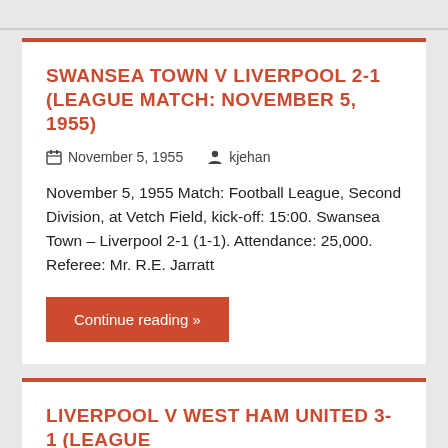SWANSEA TOWN V LIVERPOOL 2-1 (LEAGUE MATCH: NOVEMBER 5, 1955)
November 5, 1955   kjehan
November 5, 1955 Match: Football League, Second Division, at Vetch Field, kick-off: 15:00. Swansea Town – Liverpool 2-1 (1-1). Attendance: 25,000. Referee: Mr. R.E. Jarratt
Continue reading »
LIVERPOOL V WEST HAM UNITED 3-1 (LEAGUE MATCH: OCTOBER 15, 1955)